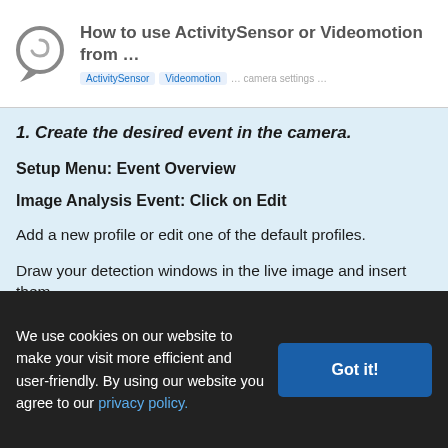How to use ActivitySensor or Videomotion from ...
1. Create the desired event in the camera.
Setup Menu: Event Overview
Image Analysis Event: Click on Edit
Add a new profile or edit one of the default profiles.
Draw your detection windows in the live image and insert them.
We use cookies on our website to make your visit more efficient and user-friendly. By using our website you agree to our privacy policy.